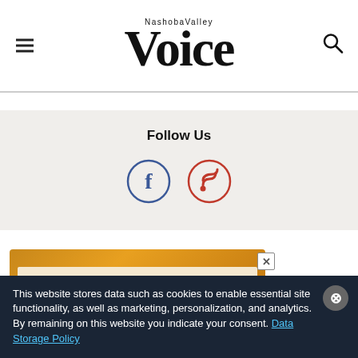Nashoba Valley Voice
Follow Us
[Figure (illustration): Facebook and RSS social media icons in circles]
[Figure (illustration): Advertisement banner with golden/tan color scheme and X close button]
This website stores data such as cookies to enable essential site functionality, as well as marketing, personalization, and analytics. By remaining on this website you indicate your consent. Data Storage Policy